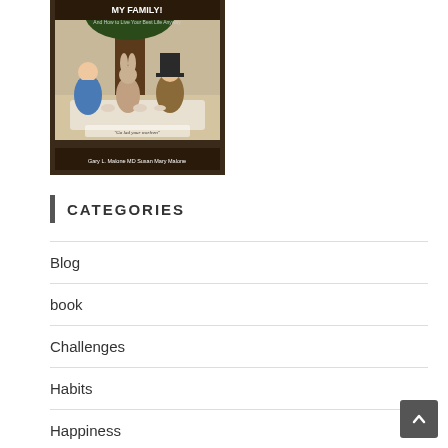[Figure (illustration): Book cover illustration showing Alice in Wonderland style scene with characters at a tea party. Text reads 'My Family! And How to Live Your Best Life Anyway' by Gary L. Malone MD and Susan Mary Malone.]
CATEGORIES
Blog
book
Challenges
Habits
Happiness
Inspiration